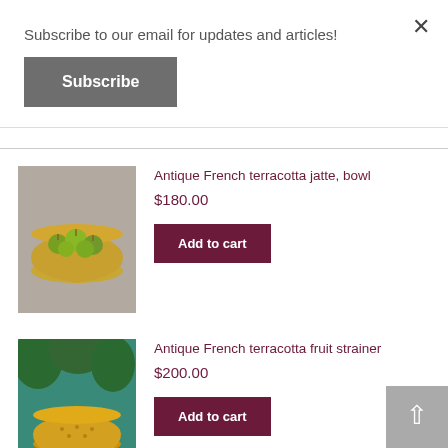Subscribe to our email for updates and articles!
Subscribe
×
Antique French terracotta jatte, bowl
$180.00
[Figure (photo): A terracotta bowl filled with green apples on a grey background]
Add to cart
Antique French terracotta fruit strainer
$200.00
[Figure (photo): A yellow terracotta fruit strainer on a teal background]
Add to cart
Art Nouveau faience vase by Fives Lille Gustave de Bruyn c1900
[Figure (photo): Partial view of an Art Nouveau faience vase]